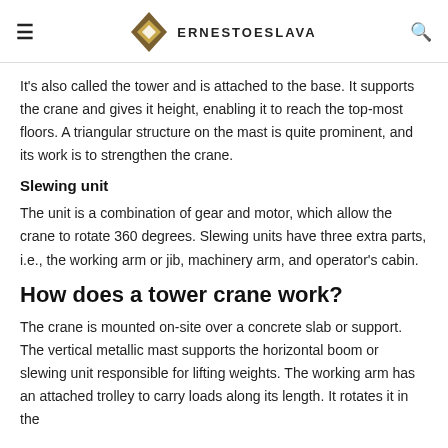ERNESTOESLAVA
It's also called the tower and is attached to the base. It supports the crane and gives it height, enabling it to reach the top-most floors. A triangular structure on the mast is quite prominent, and its work is to strengthen the crane.
Slewing unit
The unit is a combination of gear and motor, which allow the crane to rotate 360 degrees. Slewing units have three extra parts, i.e., the working arm or jib, machinery arm, and operator's cabin.
How does a tower crane work?
The crane is mounted on-site over a concrete slab or support. The vertical metallic mast supports the horizontal boom or slewing unit responsible for lifting weights. The working arm has an attached trolley to carry loads along its length. It rotates it in the